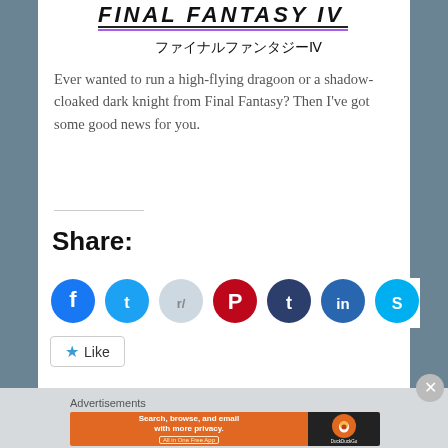[Figure (logo): Final Fantasy IV logo with Japanese text ファイナルファンタジーIV]
Ever wanted to run a high-flying dragoon or a shadow-cloaked dark knight from Final Fantasy? Then I've got some good news for you.
Share:
[Figure (infographic): Social sharing icons: Facebook, Twitter, Reddit, Pinterest, Tumblr, LinkedIn, Skype]
Like
Be the first to like this.
Advertisements
[Figure (infographic): DuckDuckGo advertisement banner: Search, browse, and email with more privacy. All in One Free App]